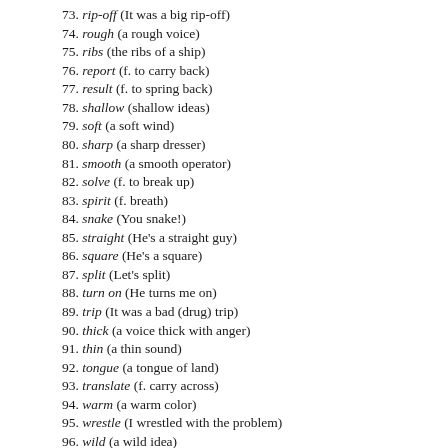73. rip-off (It was a big rip-off)
74. rough (a rough voice)
75. ribs (the ribs of a ship)
76. report (f. to carry back)
77. result (f. to spring back)
78. shallow (shallow ideas)
79. soft (a soft wind)
80. sharp (a sharp dresser)
81. smooth (a smooth operator)
82. solve (f. to break up)
83. spirit (f. breath)
84. snake (You snake!)
85. straight (He's a straight guy)
86. square (He's a square)
87. split (Let's split)
88. turn on (He turns me on)
89. trip (It was a bad (drug) trip)
90. thick (a voice thick with anger)
91. thin (a thin sound)
92. tongue (a tongue of land)
93. translate (f. carry across)
94. warm (a warm color)
95. wrestle (I wrestled with the problem)
96. wild (a wild idea)